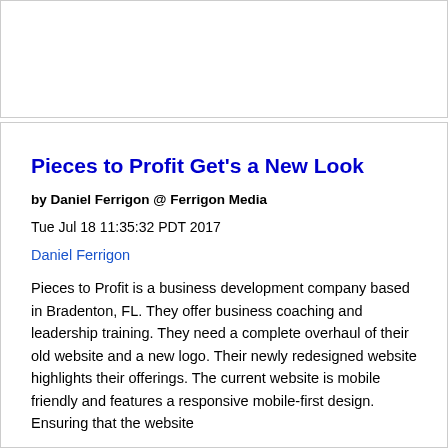Pieces to Profit Get's a New Look
by Daniel Ferrigon @ Ferrigon Media
Tue Jul 18 11:35:32 PDT 2017
Daniel Ferrigon
Pieces to Profit is a business development company based in Bradenton, FL. They offer business coaching and leadership training. They need a complete overhaul of their old website and a new logo. Their newly redesigned website highlights their offerings. The current website is mobile friendly and features a responsive mobile-first design. Ensuring that the website